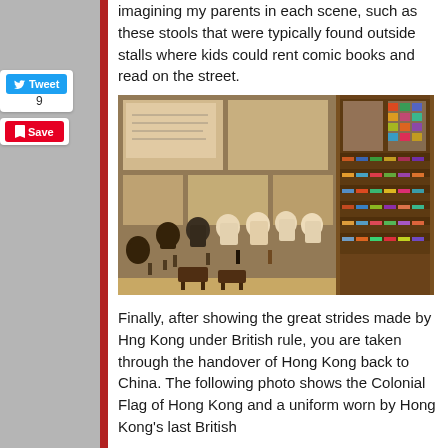imagining my parents in each scene, such as these stools that were typically found outside stalls where kids could rent comic books and read on the street.
[Figure (photo): Museum exhibit showing a large black-and-white photograph of children sitting on small stools reading comic books outside a stall, with a wooden display case of colorful comic books on the right side, and small dark stools on the floor in the foreground.]
Finally, after showing the great strides made by Hng Kong under British rule, you are taken through the handover of Hong Kong back to China. The following photo shows the Colonial Flag of Hong Kong and a uniform worn by Hong Kong's last British